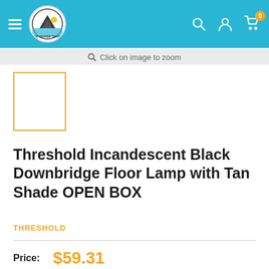Rio Grande Trade — navigation header with logo, search, account, and cart icons
Click on image to zoom
[Figure (photo): Product thumbnail placeholder with orange border]
Threshold Incandescent Black Downbridge Floor Lamp with Tan Shade OPEN BOX
THRESHOLD
Price: $59.31